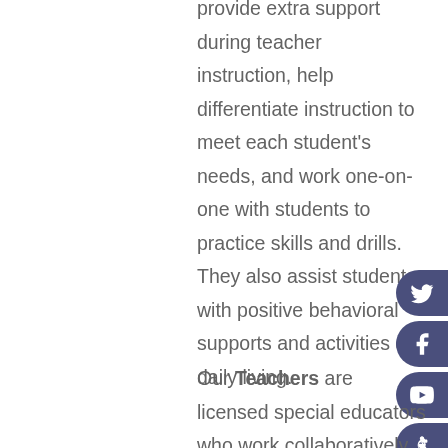provide extra support during teacher instruction, help differentiate instruction to meet each student's needs, and work one-on-one with students to practice skills and drills. They also assist students with positive behavioral supports and activities of daily living.
[Figure (infographic): Social media icon buttons (Twitter, Facebook, YouTube, and an apple/teacher icon) arranged vertically on the right side of the page, each in a dark blue-purple pill/rounded rectangle shape]
Our Teachers are licensed special educators who work collaboratively